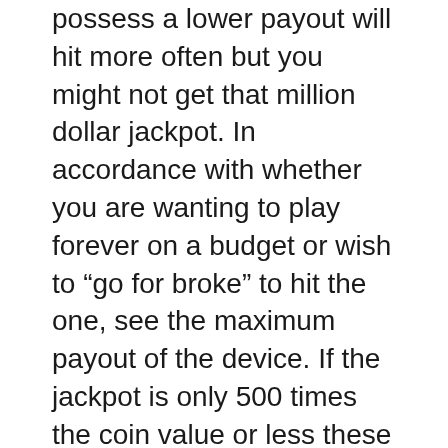possess a lower payout will hit more often but you might not get that million dollar jackpot. In accordance with whether you are wanting to play forever on a budget or wish to “go for broke” to hit the one, see the maximum payout of the device. If the jackpot is only 500 times the coin value or less these machines will pay smaller amounts more often and keep you playing on the relatively small budget.
The RNG generates amount for each spin. Quantity of corresponds into the symbols onto the Reel. To think about hundreds of Virtual stops on each reel despite the fact that you see far fewer symbols. Out of your to generate millions of combinations could be the reason that online video poker